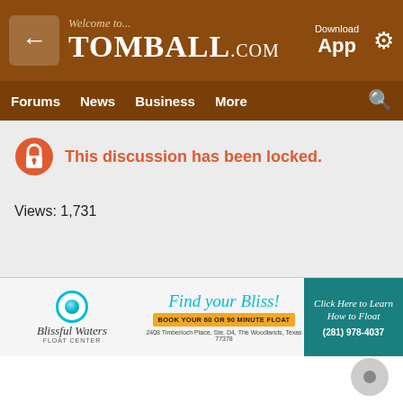Welcome to... TOMBALL.com | Download App
Forums  News  Business  More
This discussion has been locked.
Views: 1,731
[Figure (infographic): Blissful Waters Float Center advertisement: Find your Bliss! Book your 60 or 90 minute float. 2408 Timberloch Place, Ste. D4, The Woodlands, Texas 77378. Click Here to Learn How to Float. (281) 978-4037]